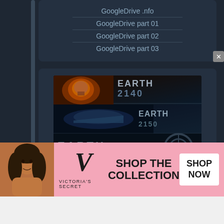GoogleDrive .nfo
GoogleDrive part 01
GoogleDrive part 02
GoogleDrive part 03
[Figure (illustration): Earth 2140, 2150, 2160 game bundle banner showing three sci-fi game logos stacked]
Earth.2140.2150.2160.Universe.Bundle.(1997-2005).REPACK-KaOs [1.67GB]
Contains:
[Figure (photo): Victoria's Secret advertisement banner with a woman and text SHOP THE COLLECTION and SHOP NOW button]